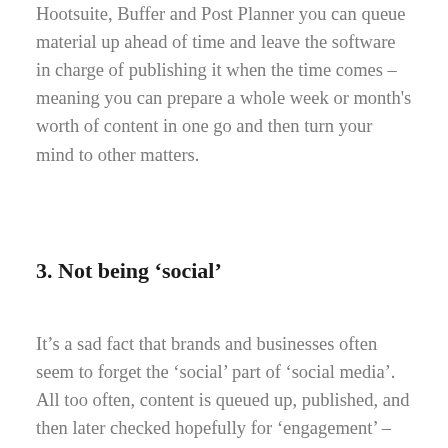Hootsuite, Buffer and Post Planner you can queue material up ahead of time and leave the software in charge of publishing it when the time comes – meaning you can prepare a whole week or month's worth of content in one go and then turn your mind to other matters.
3. Not being ‘social’
It’s a sad fact that brands and businesses often seem to forget the ‘social’ part of ‘social media’. All too often, content is queued up, published, and then later checked hopefully for ‘engagement’ – all